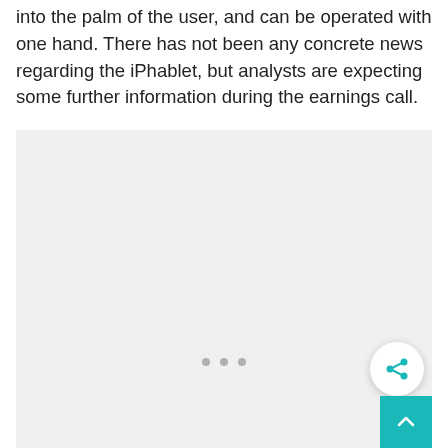into the palm of the user, and can be operated with one hand. There has not been any concrete news regarding the iPhablet, but analysts are expecting some further information during the earnings call.
[Figure (other): A light gray placeholder image area with three gray dots in the lower center indicating a carousel or loading state. A circular share button with a teal share icon is overlaid in the lower right corner.]